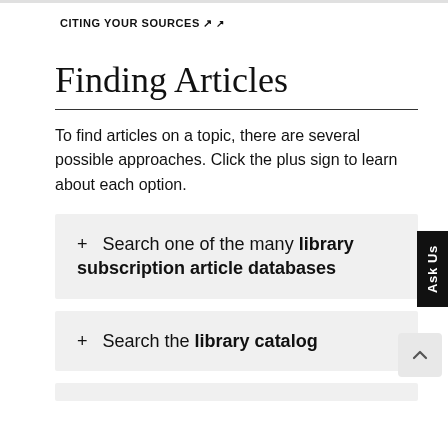CITING YOUR SOURCES ↗
Finding Articles
To find articles on a topic, there are several possible approaches. Click the plus sign to learn about each option.
+ Search one of the many library subscription article databases
+ Search the library catalog